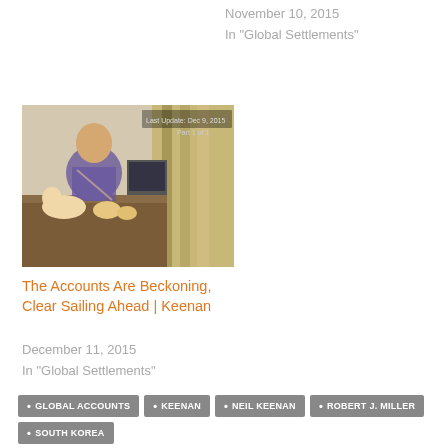November 10, 2015
In "Global Settlements"
[Figure (photo): A person sitting at a desk with a cat and decorative shells, with curtains in the background. Timestamp overlay visible: date Dec 9, Part 1 of 1]
The Accounts Are Beckoning, Clear Sailing Ahead | Keenan
December 11, 2015
In "Global Settlements"
GLOBAL ACCOUNTS
KEENAN
NEIL KEENAN
ROBERT J. MILLER
SOUTH KOREA
PREVIOUS POST
"Palestinian Mothers Should Be Killed"